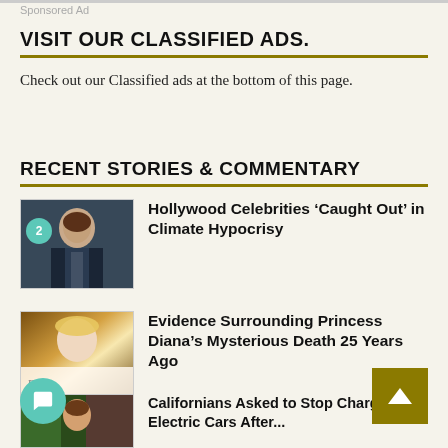Sponsored Ad
VISIT OUR CLASSIFIED ADS.
Check out our Classified ads at the bottom of this page.
RECENT STORIES & COMMENTARY
[Figure (photo): Man in dark suit, appears to be Prince Harry at a podium or event]
Hollywood Celebrities ‘Caught Out’ in Climate Hypocrisy
[Figure (photo): Princess Diana wearing a tiara, smiling, with cursive text overlay reading 'Dia']
Evidence Surrounding Princess Diana’s Mysterious Death 25 Years Ago
[Figure (photo): Man in front of American flags, green background at left]
Californians Asked to Stop Charging Electric Cars After...